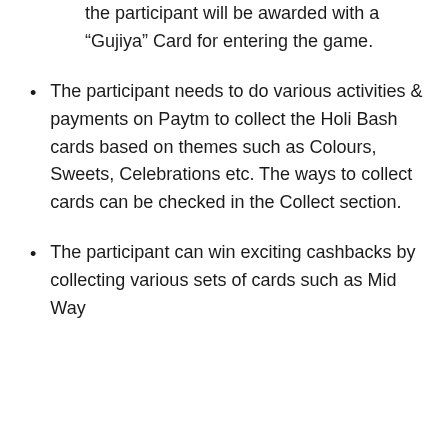the participant will be awarded with a “Gujiya” Card for entering the game.
The participant needs to do various activities & payments on Paytm to collect the Holi Bash cards based on themes such as Colours, Sweets, Celebrations etc. The ways to collect cards can be checked in the Collect section.
The participant can win exciting cashbacks by collecting various sets of cards such as Mid Way